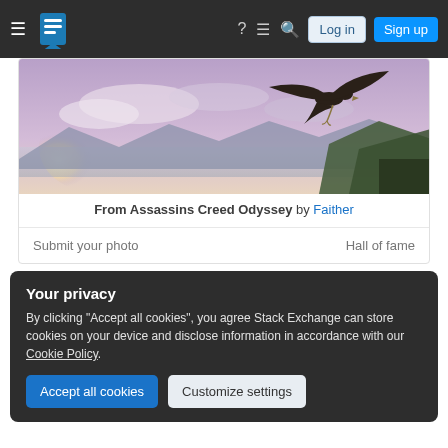Stack Exchange navigation bar with hamburger menu, logo, help, chat, search icons, Log in and Sign up buttons
[Figure (photo): Screenshot of Assassins Creed Odyssey game scene showing an eagle soaring over a scenic landscape with mountains, water, and sunset light]
From Assassins Creed Odyssey by Faither
Submit your photo
Hall of fame
Your privacy
By clicking "Accept all cookies", you agree Stack Exchange can store cookies on your device and disclose information in accordance with our Cookie Policy.
Accept all cookies
Customize settings